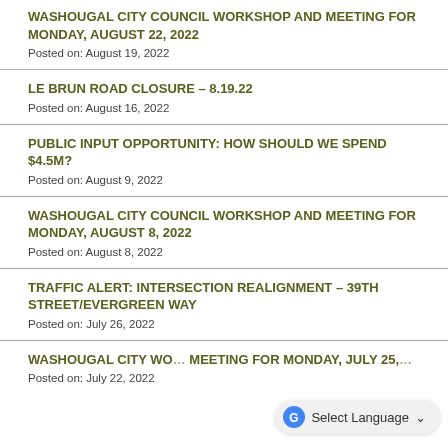WASHOUGAL CITY COUNCIL WORKSHOP AND MEETING FOR MONDAY, AUGUST 22, 2022
Posted on: August 19, 2022
LE BRUN ROAD CLOSURE – 8.19.22
Posted on: August 16, 2022
PUBLIC INPUT OPPORTUNITY: HOW SHOULD WE SPEND $4.5M?
Posted on: August 9, 2022
WASHOUGAL CITY COUNCIL WORKSHOP AND MEETING FOR MONDAY, AUGUST 8, 2022
Posted on: August 8, 2022
TRAFFIC ALERT: INTERSECTION REALIGNMENT – 39TH STREET/EVERGREEN WAY
Posted on: July 26, 2022
WASHOUGAL CITY COUNCIL WORKSHOP AND MEETING FOR MONDAY, JULY 25, 2022
Posted on: July 22, 2022